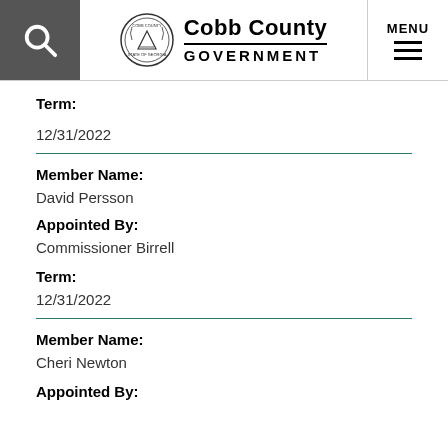Cobb County GOVERNMENT
Term:
12/31/2022
Member Name:
David Persson
Appointed By:
Commissioner Birrell
Term:
12/31/2022
Member Name:
Cheri Newton
Appointed By: